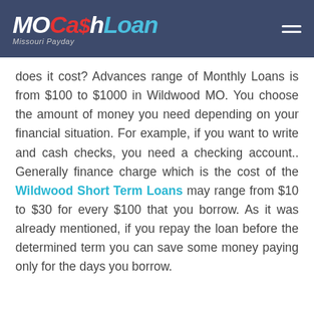MoCashLoan Missouri Payday
does it cost? Advances range of Monthly Loans is from $100 to $1000 in Wildwood MO. You choose the amount of money you need depending on your financial situation. For example, if you want to write and cash checks, you need a checking account.. Generally finance charge which is the cost of the Wildwood Short Term Loans may range from $10 to $30 for every $100 that you borrow. As it was already mentioned, if you repay the loan before the determined term you can save some money paying only for the days you borrow.